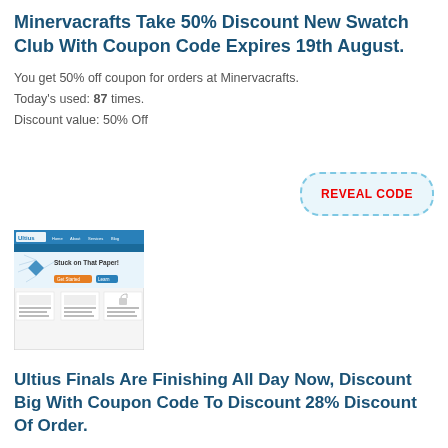Minervacrafts Take 50% Discount New Swatch Club With Coupon Code Expires 19th August.
You get 50% off coupon for orders at Minervacrafts.
Today's used: 87 times.
Discount value: 50% Off
[Figure (screenshot): REVEAL CODE button with dashed blue border on light blue background]
[Figure (screenshot): Screenshot of Ultius website showing 'Stuck on That Paper!' heading with diamond graphic and navigation bar]
Ultius Finals Are Finishing All Day Now, Discount Big With Coupon Code To Discount 28% Discount Of Order.